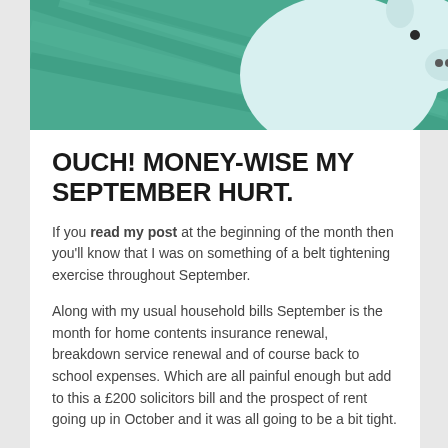[Figure (photo): Photograph of a white piggy bank against a teal/green background]
OUCH! MONEY-WISE MY SEPTEMBER HURT.
If you read my post at the beginning of the month then you'll know that I was on something of a belt tightening exercise throughout September.
Along with my usual household bills September is the month for home contents insurance renewal, breakdown service renewal and of course back to school expenses. Which are all painful enough but add to this a £200 solicitors bill and the prospect of rent going up in October and it was all going to be a bit tight.